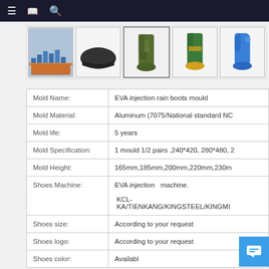[Figure (screenshot): Top navigation bar with hamburger menu, book icon, and search icon on dark background]
[Figure (photo): Row of five product thumbnail images: factory machinery, dark shoe, camouflage rain boot, green rain boot, blue rain boot]
| Mold Name: | EVA injection rain boots mould |
| Mold Material: | Aluminum (7075/National standard NC |
| Mold life: | 5 years |
| Mold Specification: | 1 mould 1/2 pairs ,240*420, 280*480, 2 |
| Mold Height: | 165mm,185mm,200mm,220mm,230m |
| Shoes Machine: | EVA injection  machine.

 KCL-KA/TIENKANG/KINGSTEEL/KINGMI |
| Shoes size: | According to your request |
| Shoes logo: | According to your request |
| Shoes color: | Availabl |